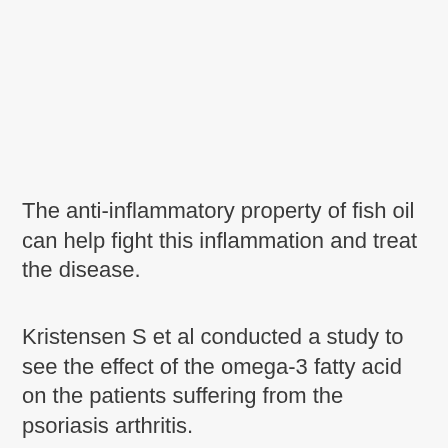[Figure (other): Blank/white image area at top of page]
The anti-inflammatory property of fish oil can help fight this inflammation and treat the disease.
Kristensen S et al conducted a study to see the effect of the omega-3 fatty acid on the patients suffering from the psoriasis arthritis.